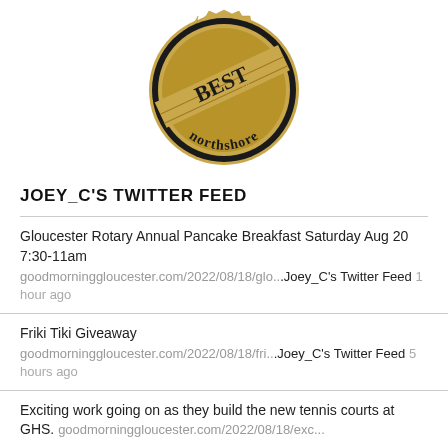[Figure (logo): Best of Northshore circular badge/seal with gold and black coloring, showing 'BEST of northshore' text]
JOEY_C'S TWITTER FEED
Gloucester Rotary Annual Pancake Breakfast Saturday Aug 20 7:30-11am goodmorninggloucester.com/2022/08/18/glo...Joey_C's Twitter Feed 1 hour ago
Friki Tiki Giveaway goodmorninggloucester.com/2022/08/18/fri...Joey_C's Twitter Feed 5 hours ago
Exciting work going on as they build the new tennis courts at GHS. goodmorninggloucester.com/2022/08/18/exc...